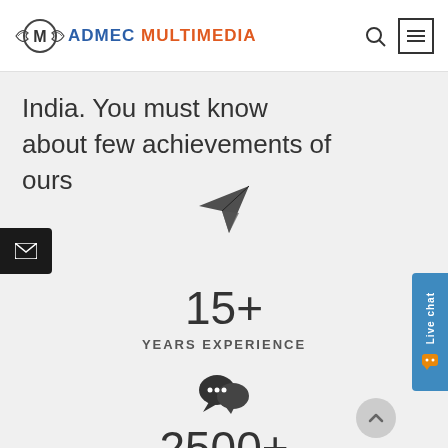[Figure (logo): ADMEC Multimedia logo with circular M emblem and wing motifs, text ADMEC in blue and MULTIMEDIA in orange]
India. You must know about few achievements of ours
[Figure (infographic): Paper airplane / send icon above '15+' stat]
15+
YEARS EXPERIENCE
[Figure (infographic): Chat/message bubbles icon above '2500+' stat]
2500+